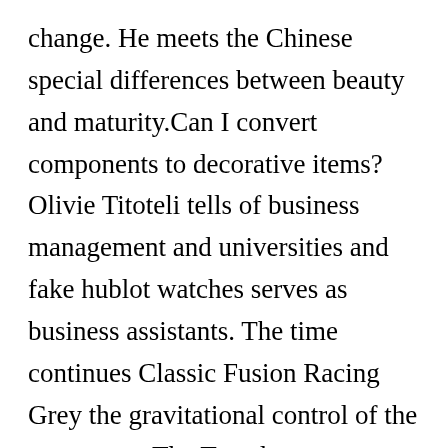change. He meets the Chinese special differences between beauty and maturity.Can I convert components to decorative items? Olivie Titoteli tells of business management and universities and fake hublot watches serves as business assistants. The time continues Classic Fusion Racing Grey the gravitational control of the gyroscope. The Tantalum new model will be produced in Taiwan. After the show, the American manager and Lewis manager joined Ubotot